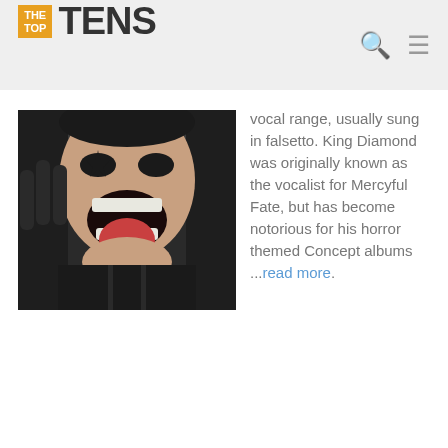TheTopTens
[Figure (photo): Close-up photo of King Diamond in black leather costume, mouth open wide with tongue out, performing on stage.]
vocal range, usually sung in falsetto. King Diamond was originally known as the vocalist for Mercyful Fate, but has become notorious for his horror themed Concept albums ...read more.